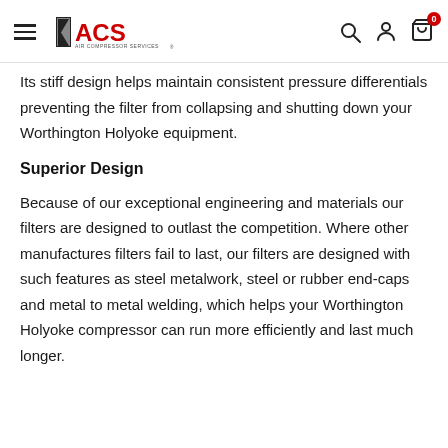ACS Air Compressor Services — navigation header with hamburger menu, search, account, and cart icons
Its stiff design helps maintain consistent pressure differentials preventing the filter from collapsing and shutting down your Worthington Holyoke equipment.
Superior Design
Because of our exceptional engineering and materials our filters are designed to outlast the competition. Where other manufactures filters fail to last, our filters are designed with such features as steel metalwork, steel or rubber end-caps and metal to metal welding, which helps your Worthington Holyoke compressor can run more efficiently and last much longer.